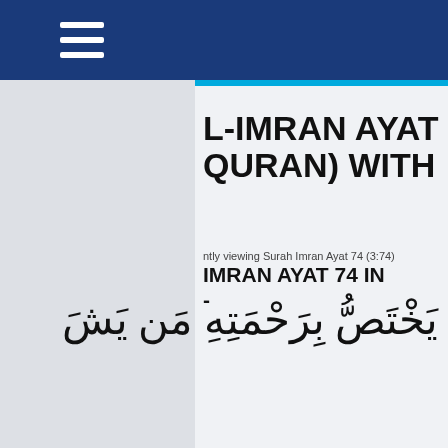L-IMRAN AYAT QURAN) WITH
ntly viewing Surah Imran Ayat 74 (3:74)
IMRAN AYAT 74 IN
يَخْتَصُّ بِرَحْمَتِهِ مَن يَشَ